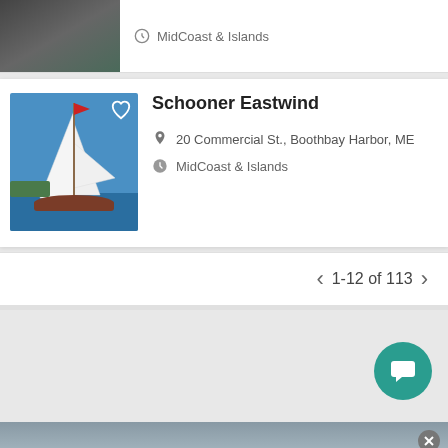[Figure (photo): Partial sailing vessel card at top of page with MidCoast & Islands region label]
MidCoast & Islands
[Figure (photo): Schooner Eastwind sailing vessel on water with white sails]
Schooner Eastwind
20 Commercial St., Boothbay Harbor, ME
MidCoast & Islands
1-12 of 113
[Figure (photo): Balmy Days Cruises advertisement banner with boat photo]
BALMY DAYS CRUISES
Join us for an unforgettable Maine experience.